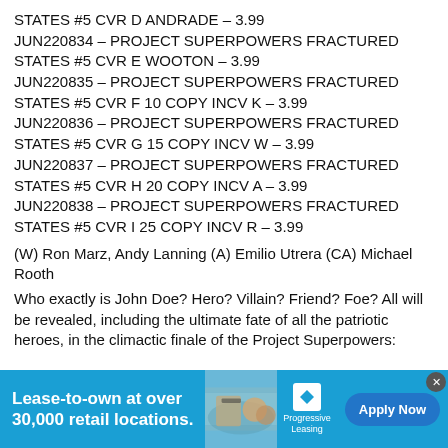STATES #5 CVR D ANDRADE – 3.99
JUN220834 – PROJECT SUPERPOWERS FRACTURED STATES #5 CVR E WOOTON – 3.99
JUN220835 – PROJECT SUPERPOWERS FRACTURED STATES #5 CVR F 10 COPY INCV K – 3.99
JUN220836 – PROJECT SUPERPOWERS FRACTURED STATES #5 CVR G 15 COPY INCV W – 3.99
JUN220837 – PROJECT SUPERPOWERS FRACTURED STATES #5 CVR H 20 COPY INCV A – 3.99
JUN220838 – PROJECT SUPERPOWERS FRACTURED STATES #5 CVR I 25 COPY INCV R – 3.99
(W) Ron Marz, Andy Lanning (A) Emilio Utrera (CA) Michael Rooth
Who exactly is John Doe? Hero? Villain? Friend? Foe? All will be revealed, including the ultimate fate of all the patriotic heroes, in the climactic finale of the Project Superpowers: Fractured States mini! Will darkness prevail, or do the heroes...
[Figure (other): Progressive Leasing advertisement banner: 'Lease-to-own at over 30,000 retail locations.' with Apply Now button]